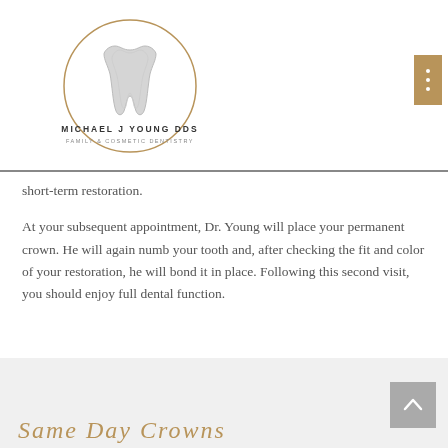[Figure (logo): Michael J Young DDS Family & Cosmetic Dentistry logo with tooth illustration inside a circle]
short-term restoration.
At your subsequent appointment, Dr. Young will place your permanent crown. He will again numb your tooth and, after checking the fit and color of your restoration, he will bond it in place. Following this second visit, you should enjoy full dental function.
Same Day Crowns